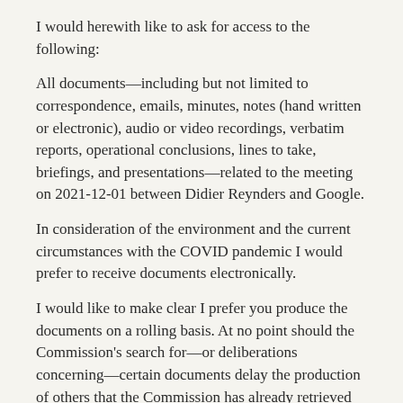I would herewith like to ask for access to the following:
All documents—including but not limited to correspondence, emails, minutes, notes (hand written or electronic), audio or video recordings, verbatim reports, operational conclusions, lines to take, briefings, and presentations—related to the meeting on 2021-12-01 between Didier Reynders and Google.
In consideration of the environment and the current circumstances with the COVID pandemic I would prefer to receive documents electronically.
I would like to make clear I prefer you produce the documents on a rolling basis. At no point should the Commission's search for—or deliberations concerning—certain documents delay the production of others that the Commission has already retrieved and elected to produce.